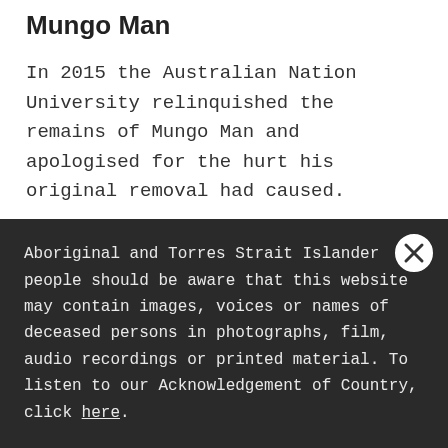Mungo Man
In 2015 the Australian Nation University relinquished the remains of Mungo Man and apologised for the hurt his original removal had caused.
Mungo Man was returned to his home in 2017 after a long fight by mob. He was returned in a black vintage hearse that began its journey in
Aboriginal and Torres Strait Islander people should be aware that this website may contain images, voices or names of deceased persons in photographs, film, audio recordings or printed material. To listen to our Acknowledgement of Country, click here.